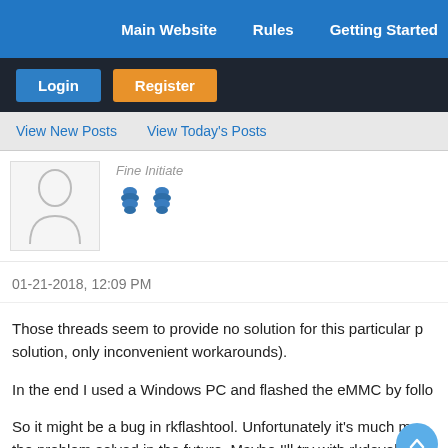Main Website   Rules   Getting Started
Login   Register
View New Posts   View Today's Posts
Fine Initiate
[Figure (illustration): Default user avatar silhouette and two blue pine cone rank icons]
01-21-2018, 12:09 PM
Those threads seem to provide no solution for this particular p... solution, only inconvenient workarounds).
In the end I used a Windows PC and flashed the eMMC by follo...
So it might be a bug in rkflashtool. Unfortunately it's much mo... the problem solved in the future. Maybe I'll try with rkdevelop...